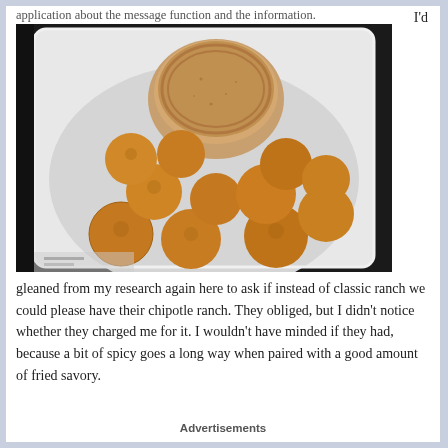application about the message function and the information. I'd
[Figure (photo): Fried food balls (hush puppies or similar) in a white styrofoam takeout container with a round container of chipotle ranch dipping sauce on top.]
gleaned from my research again here to ask if instead of classic ranch we could please have their chipotle ranch. They obliged, but I didn't notice whether they charged me for it. I wouldn't have minded if they had, because a bit of spicy goes a long way when paired with a good amount of fried savory.
Advertisements